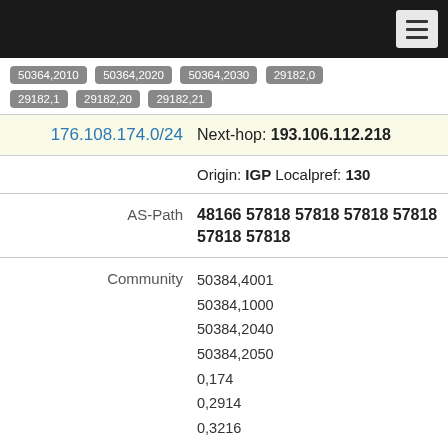Navigation header with menu button
50364,2010  50364,2020  50364,2030  29182,0
29182,1  29182,20  29182,21
176.108.174.0/24  Next-hop: 193.106.112.218
Origin: IGP  Localpref: 130
AS-Path  48166 57818 57818 57818 57818 57818 57818
Community  50384,4001  50384,1000  50384,2040  50384,2050  0,174  0,2914  0,3216  0,3356  0,6695  0,6777  0,8631  0,8732